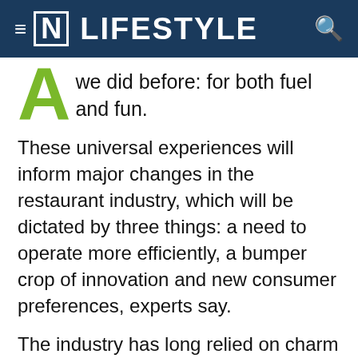≡ [N] LIFESTYLE
A  we did before: for both fuel and fun.
These universal experiences will inform major changes in the restaurant industry, which will be dictated by three things: a need to operate more efficiently, a bumper crop of innovation and new consumer preferences, experts say.
The industry has long relied on charm and deliciousness, but when we emerge from the pandemic, the time will be right to disrupt disrupters such as Deliveroo and Uber, to bring in blockchain and data science, as well as to create more seamless experiences, which will mean splitting the bill does not require